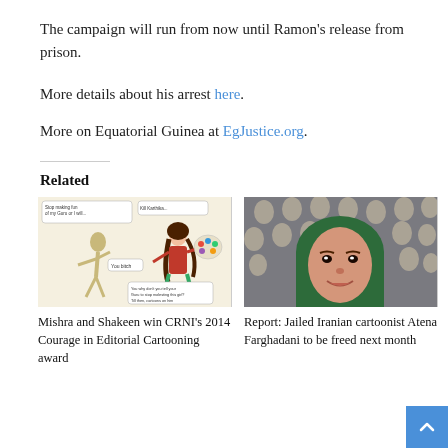The campaign will run from now until Ramon's release from prison.
More details about his arrest here.
More on Equatorial Guinea at EgJustice.org.
Related
[Figure (illustration): Cartoon illustration showing Mishra and Shakeen winning CRNI's 2014 Courage in Editorial Cartooning award]
Mishra and Shakeen win CRNI's 2014 Courage in Editorial Cartooning award
[Figure (photo): Photo of jailed Iranian cartoonist Atena Farghadani with doll faces in the background]
Report: Jailed Iranian cartoonist Atena Farghadani to be freed next month